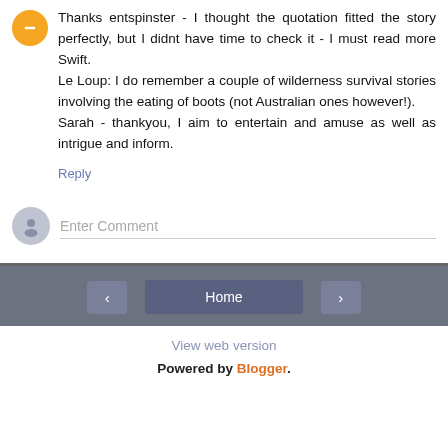Thanks entspinster - I thought the quotation fitted the story perfectly, but I didnt have time to check it - I must read more Swift.
Le Loup: I do remember a couple of wilderness survival stories involving the eating of boots (not Australian ones however!).
Sarah - thankyou, I aim to entertain and amuse as well as intrigue and inform.
Reply
Enter Comment
Home
View web version
Powered by Blogger.